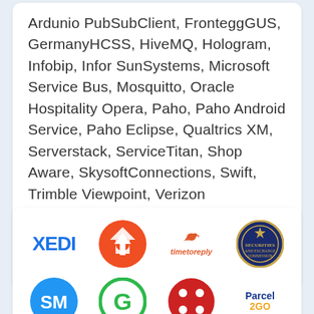Ardunio PubSubClient, FronteggGUS, GermanyHCSS, HiveMQ, Hologram, Infobip, Infor SunSystems, Microsoft Service Bus, Mosquitto, Oracle Hospitality Opera, Paho, Paho Android Service, Paho Eclipse, Qualtrics XM, Serverstack, ServiceTitan, Shop Aware, SkysoftConnections, Swift, Trimble Viewpoint, Verizon Thingspace, Wolf MQTT / Wolf SSL, Wolf SSL.
[Figure (other): Right-pointing arrow icon in dark navy blue]
[Figure (logo): Grid of logos: XEDI (blue text), orange circular icon with star/arrow shape, timetoreply (red rabbit icon with text), SEC (Securities and Exchange Commission seal), SM blue circular logo, G green circular logo, red circular logo with four dots, Parcel2Go (blue and orange text)]